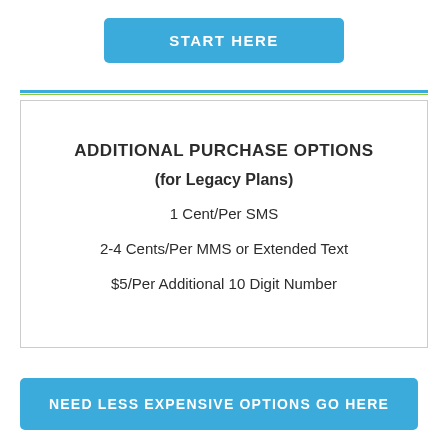START HERE
ADDITIONAL PURCHASE OPTIONS
(for Legacy Plans)
1 Cent/Per SMS
2-4 Cents/Per MMS or Extended Text
$5/Per Additional 10 Digit Number
NEED LESS EXPENSIVE OPTIONS GO HERE